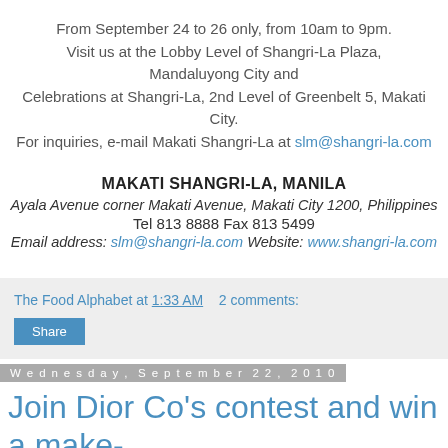From September 24 to 26 only, from 10am to 9pm. Visit us at the Lobby Level of Shangri-La Plaza, Mandaluyong City and Celebrations at Shangri-La, 2nd Level of Greenbelt 5, Makati City. For inquiries, e-mail Makati Shangri-La at slm@shangri-la.com
MAKATI SHANGRI-LA, MANILA
Ayala Avenue corner Makati Avenue, Makati City 1200, Philippines
Tel 813 8888 Fax 813 5499
Email address: slm@shangri-la.com Website: www.shangri-la.com
The Food Alphabet at 1:33 AM   2 comments:
Share
Wednesday, September 22, 2010
Join Dior Co's contest and win a make-